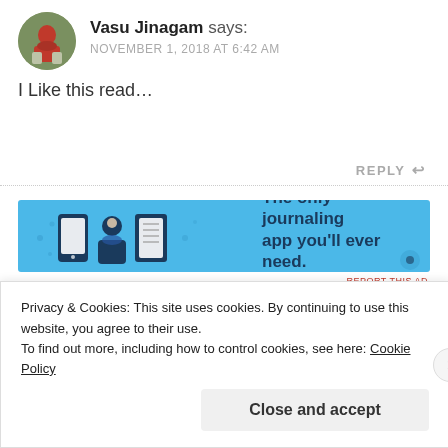Vasu Jinagam says: NOVEMBER 1, 2018 AT 6:42 AM
I Like this read…
REPLY ↩
[Figure (infographic): Advertisement banner with blue background showing journal app icons and text: The only journaling app you'll ever need.]
REPORT THIS AD
Privacy & Cookies: This site uses cookies. By continuing to use this website, you agree to their use.
To find out more, including how to control cookies, see here: Cookie Policy
Close and accept